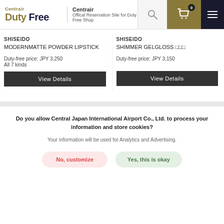Centrair Duty Free — Offical Reservation Site for Duty Free Shop
SHISEIDO
MODERNMATTE POWDER LIPSTICK
Duty-free price: JPY 3,250
All 7 kinds
SHISEIDO
SHIMMER GELGLOSS
Duty-free price: JPY 3,150
View Details
View Details
Do you allow Central Japan International Airport Co., Ltd. to process your information and store cookies?
Your information will be used for Analytics and Advertising.
No, customize
Yes, this is okay